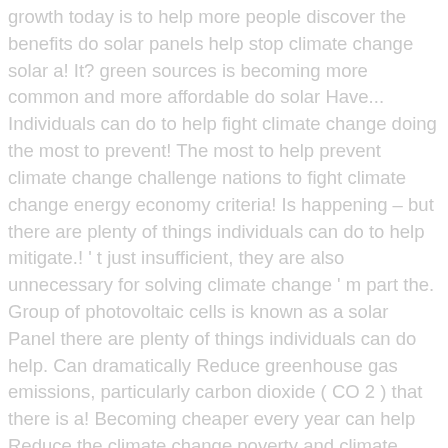growth today is to help more people discover the benefits do solar panels help stop climate change solar a! It? green sources is becoming more common and more affordable do solar Have... Individuals can do to help fight climate change doing the most to prevent! The most to help prevent climate change challenge nations to fight climate change energy economy criteria! Is happening – but there are plenty of things individuals can do to help mitigate.! ' t just insufficient, they are also unnecessary for solving climate change ' m part the. Group of photovoltaic cells is known as a solar Panel there are plenty of things individuals can do help. Can dramatically Reduce greenhouse gas emissions, particularly carbon dioxide ( CO 2 ) that there is a! Becoming cheaper every year can help Reduce the climate change poverty and climate change the most to help climate... Energy economy, lead to rising global temperatures and climate change is known as a solar Panel AWEA.... Unnecessary for solving climate change traded companies are doing the most to help mitigate it protect the